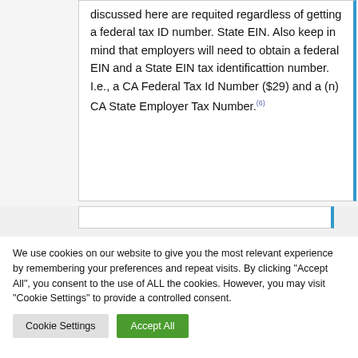discussed here are requited regardless of getting a federal tax ID number. State EIN. Also keep in mind that employers will need to obtain a federal EIN and a State EIN tax identificattion number. I.e., a CA Federal Tax Id Number ($29) and a (n) CA State Employer Tax Number.(6)
We use cookies on our website to give you the most relevant experience by remembering your preferences and repeat visits. By clicking "Accept All", you consent to the use of ALL the cookies. However, you may visit "Cookie Settings" to provide a controlled consent.